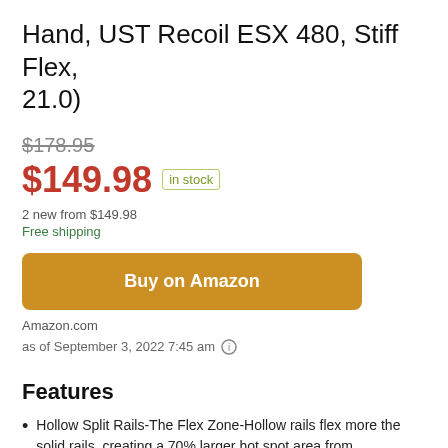Hand, UST Recoil ESX 480, Stiff Flex, 21.0)
$178.95 (strikethrough) $149.98 in stock
2 new from $149.98
Free shipping
Buy on Amazon
Amazon.com
as of September 3, 2022 7:45 am (i)
Features
Hollow Split Rails-The Flex Zone-Hollow rails flex more the solid rails, creating a 70% larger hot spot area from